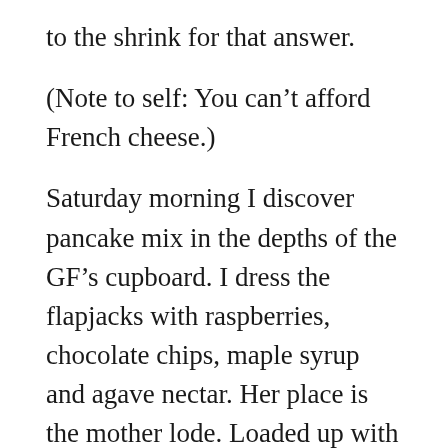to the shrink for that answer.
(Note to self: You can’t afford French cheese.)
Saturday morning I discover pancake mix in the depths of the GF’s cupboard. I dress the flapjacks with raspberries, chocolate chips, maple syrup and agave nectar. Her place is the mother lode. Loaded up with carbs and sugar, I pass out watching the Arizona Cardinals slip by the Atlanta Falcons.
On Sunday, I …